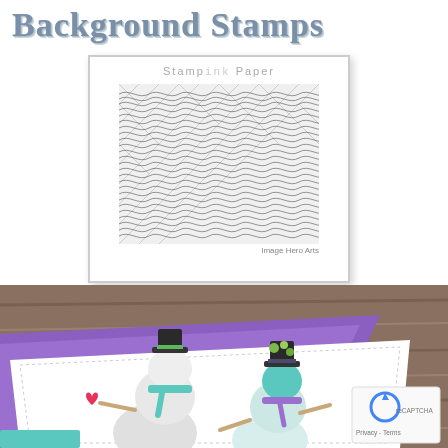Background Stamps
[Figure (photo): Product card showing 'Stamp ink Paper' brand label above a square image of a background stamp pattern with dense wavy/crosshatch lines in black and white. Caption reads 'Image Hero Arts'.]
[Figure (photo): Photograph of a crafted greeting card featuring two snowman figures wearing hats and scarves, one holding a heart, placed on a purple mat on a wooden table surface. A reCAPTCHA widget overlay appears in the bottom right corner with 'Privacy - Terms' text.]